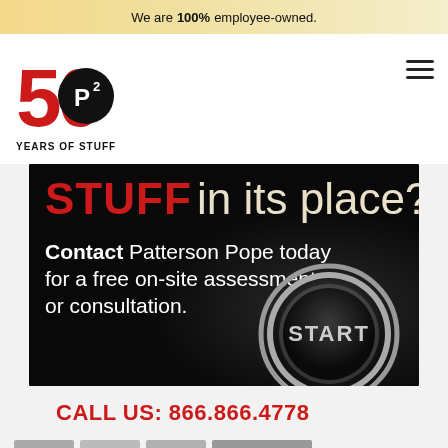We are 100% employee-owned.
[Figure (logo): Patterson Pope 50 years logo with P2 emblem, red and black]
[Figure (infographic): Dark background image with red text 'STUFF in its place?' and white text 'Contact Patterson Pope today for a free on-site assessment or consultation.' with a START button graphic]
CALL US: 866.866.4778